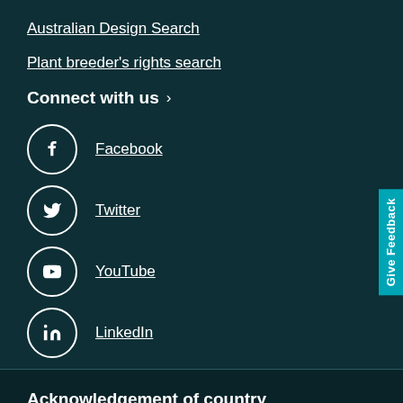Australian Design Search
Plant breeder's rights search
Connect with us >
Facebook
Twitter
YouTube
LinkedIn
Acknowledgement of country
IP Australia acknowledges the Aboriginal and Torres Strait